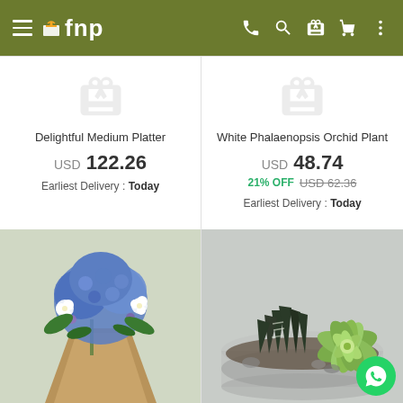[Figure (screenshot): FNP mobile app navigation bar with hamburger menu, FNP logo, phone, search, gift, cart, and more icons on olive green background]
Delightful Medium Platter
USD 122.26
Earliest Delivery : Today
White Phalaenopsis Orchid Plant
USD 48.74
21% OFF USD 62.36
Earliest Delivery : Today
[Figure (photo): Blue hydrangea and white flower bouquet wrapped in brown kraft paper]
[Figure (photo): Succulent and haworthia plants in a glass terrarium bowl with WhatsApp button overlay]